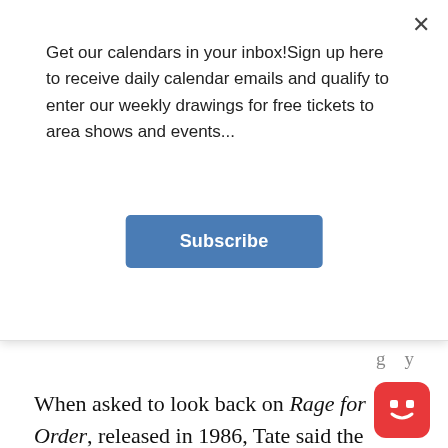Get our calendars in your inbox!Sign up here to receive daily calendar emails and qualify to enter our weekly drawings for free tickets to area shows and events...
Subscribe
When asked to look back on Rage for Order, released in 1986, Tate said the album was a pretty significant album for its time.
“I think it was really the first album that Queensrÿche did where we became Queensrÿche,” he said. “It really set us apart and made a name for us.”
Rage for Order was a...